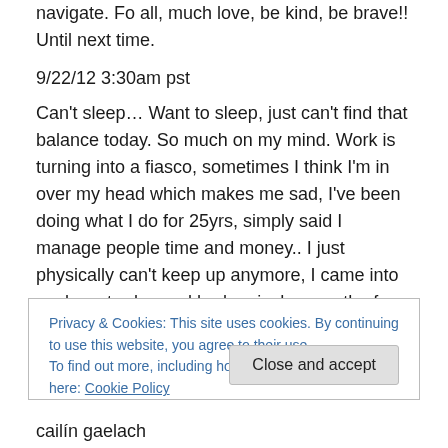navigate. Fo all, much love, be kind, be brave!! Until next time.
9/22/12 3:30am pst
Can't sleep… Want to sleep, just can't find that balance today. So much on my mind. Work is turning into a fiasco, sometimes I think I'm in over my head which makes me sad, I've been doing what I do for 25yrs, simply said I manage people time and money.. I just physically can't keep up anymore, I came into work yesterday and had an inches worth of paper work to read through, anyone familiar with PD will understand how ridiculous that is for
Privacy & Cookies: This site uses cookies. By continuing to use this website, you agree to their use.
To find out more, including how to control cookies, see here: Cookie Policy
Close and accept
cailín gaelach